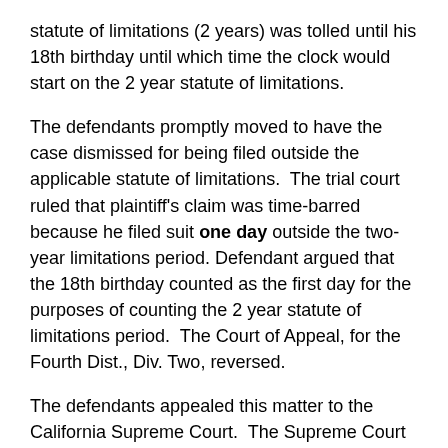statute of limitations (2 years) was tolled until his 18th birthday until which time the clock would start on the 2 year statute of limitations.
The defendants promptly moved to have the case dismissed for being filed outside the applicable statute of limitations. The trial court ruled that plaintiff's claim was time-barred because he filed suit one day outside the two-year limitations period. Defendant argued that the 18th birthday counted as the first day for the purposes of counting the 2 year statute of limitations period. The Court of Appeal, for the Fourth Dist., Div. Two, reversed.
The defendants appealed this matter to the California Supreme Court. The Supreme Court affirmed the judgment of the Court of Appeal, holding that in cases in which the statute of limitations is tolled based on a plaintiff minor's age, as set forth in Code Civ. Proc., § 12, the day after tolling ends is excluded in calculating